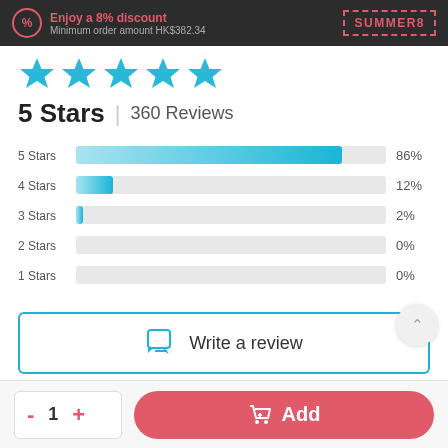Enjoy a 8% discount | Minimum order amount HK$382.34 | SUMMER8
[Figure (other): Five blue star rating icons]
5 Stars | 360 Reviews
[Figure (bar-chart): Star rating distribution]
Write a review
- 1 + Add